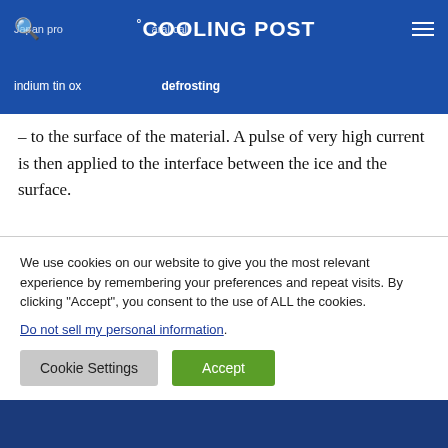COOLING POST
– to the surface of the material. A pulse of very high current is then applied to the interface between the ice and the surface.
“In order to defrost, the system cooling function is shut down, the working fluid is heated up to melt ice or frost, then it needs to be cooled down again once the surface is clean,” with below the next text starting to fill in to be cropped
We use cookies on our website to give you the most relevant experience by remembering your preferences and repeat visits. By clicking “Accept”, you consent to the use of ALL the cookies. Do not sell my personal information.